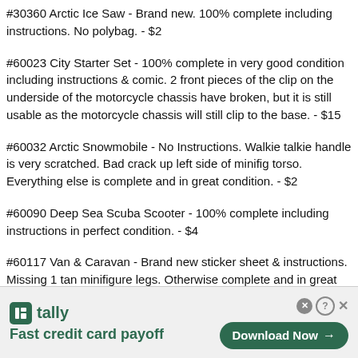#30360 Arctic Ice Saw - Brand new. 100% complete including instructions. No polybag. - $2
#60023 City Starter Set - 100% complete in very good condition including instructions & comic. 2 front pieces of the clip on the underside of the motorcycle chassis have broken, but it is still usable as the motorcycle chassis will still clip to the base. - $15
#60032 Arctic Snowmobile - No Instructions. Walkie talkie handle is very scratched. Bad crack up left side of minifig torso. Everything else is complete and in great condition. - $2
#60090 Deep Sea Scuba Scooter - 100% complete including instructions in perfect condition. - $4
#60117 Van & Caravan - Brand new sticker sheet & instructions. Missing 1 tan minifigure legs. Otherwise complete and in great condition. - $8
#60120 Volcano Starter Set - 100% complete including instructions in brand
[Figure (other): Tally app advertisement banner with green logo, tagline 'Fast credit card payoff', and a 'Download Now' button. Includes close (X) and help (?) buttons in the top right corner.]